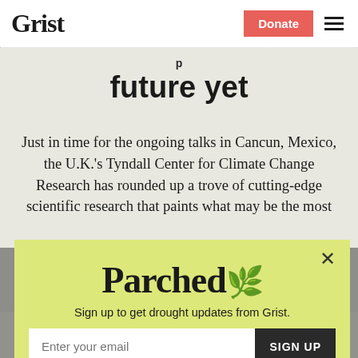Grist | Donate
future yet
Just in time for the ongoing talks in Cancun, Mexico, the U.K.'s Tyndall Center for Climate Change Research has rounded up a trove of cutting-edge scientific research that paints what may be the most
[Figure (screenshot): Parchea newsletter signup modal popup with yellow-green background. Contains 'Parchea' logo text, subtitle 'Sign up to get drought updates from Grist.', an email input field, a SIGN UP button, and a 'No thanks' link. A close (X) button is in the top right corner.]